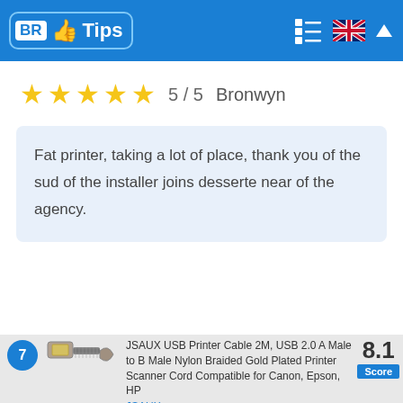[Figure (logo): BR Tips logo with blue rounded rectangle border, thumbs-up icon, and 'Tips' text in white on blue background]
5 / 5   Bronwyn
Fat printer, taking a lot of place, thank you of the sud of the installer joins desserte near of the agency.
7
JSAUX USB Printer Cable 2M, USB 2.0 A Male to B Male Nylon Braided Gold Plated Printer Scanner Cord Compatible for Canon, Epson, HP
JSAUX
8.1
Score